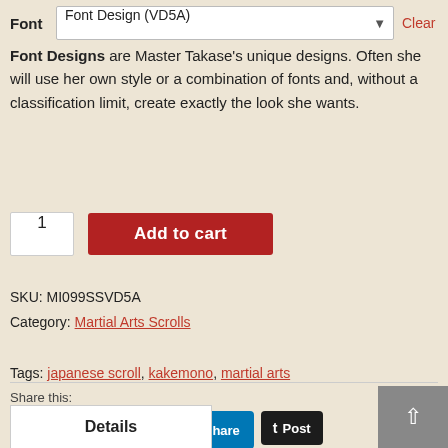Font — Font Design (VD5A) — Clear
Font Designs are Master Takase's unique designs. Often she will use her own style or a combination of fonts and, without a classification limit, create exactly the look she wants.
1  Add to cart
SKU: MI099SSVD5A
Category: Martial Arts Scrolls
Tags: japanese scroll, kakemono, martial arts
Share this:
Tweet  Save  Share  Post
Details